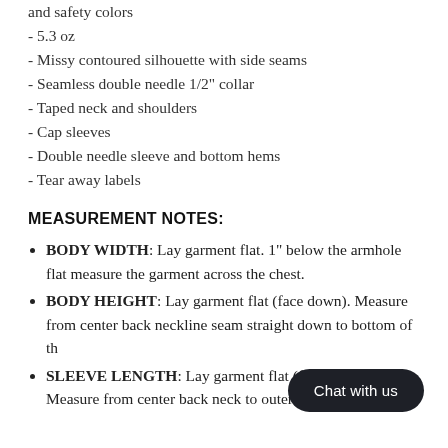- and safety colors
- 5.3 oz
- Missy contoured silhouette with side seams
- Seamless double needle 1/2" collar
- Taped neck and shoulders
- Cap sleeves
- Double needle sleeve and bottom hems
- Tear away labels
MEASUREMENT NOTES:
BODY WIDTH: Lay garment flat. 1" below the armhole flat measure the garment across the chest.
BODY HEIGHT: Lay garment flat (face down). Measure from center back neckline seam straight down to bottom of th...
SLEEVE LENGTH: Lay garme... (face down). Measure from center back neck to outer edge of shoulder...